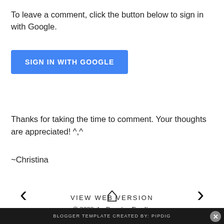To leave a comment, click the button below to sign in with Google.
[Figure (other): Blue button labeled SIGN IN WITH GOOGLE]
Thanks for taking the time to comment. Your thoughts are appreciated! ^,^
~Christina
[Figure (other): Navigation bar with left arrow, home icon, and right arrow]
VIEW WEB VERSION
© 2022 the Running Foodie
BLOGGER TEMPLATE CREATED BY: pipdig